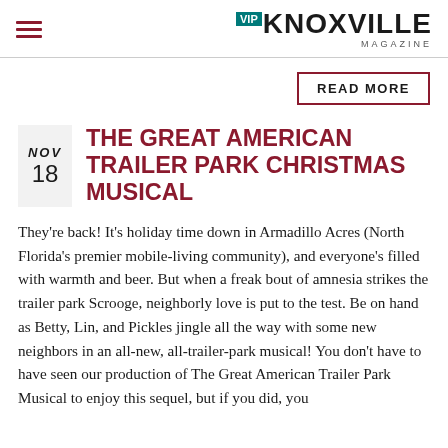VIP KNOXVILLE magazine
READ MORE
THE GREAT AMERICAN TRAILER PARK CHRISTMAS MUSICAL
They're back! It's holiday time down in Armadillo Acres (North Florida's premier mobile-living community), and everyone's filled with warmth and beer. But when a freak bout of amnesia strikes the trailer park Scrooge, neighborly love is put to the test. Be on hand as Betty, Lin, and Pickles jingle all the way with some new neighbors in an all-new, all-trailer-park musical! You don't have to have seen our production of The Great American Trailer Park Musical to enjoy this sequel, but if you did, you